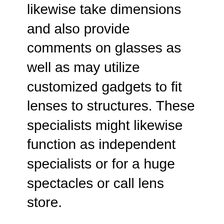likewise take dimensions and also provide comments on glasses as well as may utilize customized gadgets to fit lenses to structures. These specialists might likewise function as independent specialists or for a huge spectacles or call lens store.
Opticians are needed to keep documents of sales, customer prescriptions, as well as stock. Opticians are typically required to have outstanding interaction and customer care abilities, in addition to mastery as well as decision-making skills. Lens operate in stores, medical professional's offices, or larger retail establishments. They can be based in your home or in an office. There are several advantages of ending up being an optician. Listed